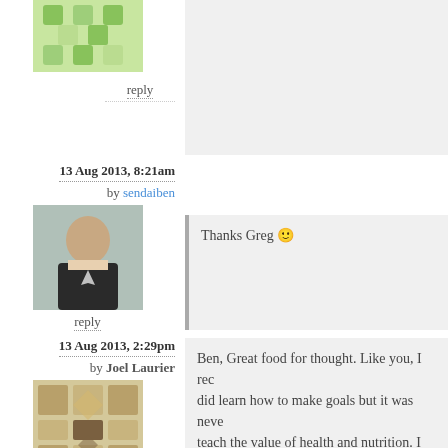[Figure (illustration): Green patterned avatar (top, partial)]
reply
13 Aug 2013, 8:21am
by sendaiben
[Figure (photo): Photo of a young man in a suit]
reply
Thanks Greg 🙂
13 Aug 2013, 2:29pm
by Joel Laurier
[Figure (illustration): Brown/gold patterned avatar]
reply
Ben, Great food for thought. Like you, I rec did learn how to make goals but it was neve teach the value of health and nutrition. I see interest in it and "living it by example" rath
13 Aug 2013, 3:12pm
by sendaiben
I agree that people need to 'wake up' by them helps. Still can't help thinking that
[Figure (photo): Photo of a young man (partial, bottom)]